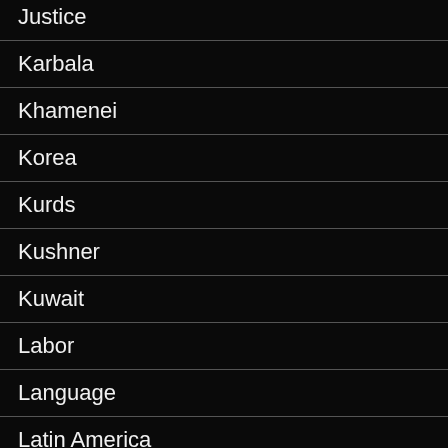Justice
Karbala
Khamenei
Korea
Kurds
Kushner
Kuwait
Labor
Language
Latin America
Lebanon
Levant
Libya